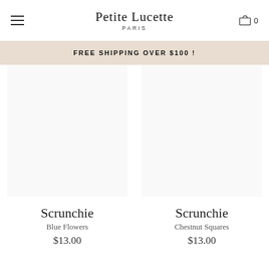Petite Lucette PARIS
FREE SHIPPING OVER $100 !
Scrunchie
Blue Flowers
$13.00
Scrunchie
Chestnut Squares
$13.00